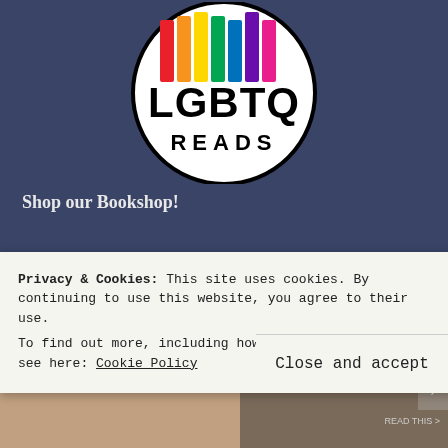[Figure (logo): LGBTQ Reads logo: circular black-bordered logo with rainbow-colored vertical bars (book spines) at top and bold black text 'LGBTQ' large and 'READS' below in a circle]
Shop our Bookshop!
CATEGORIES
Around the Blogosqueer
Authors in Conversation
Privacy & Cookies: This site uses cookies. By continuing to use this website, you agree to their use.
To find out more, including how to control cookies, see here: Cookie Policy
Close and accept